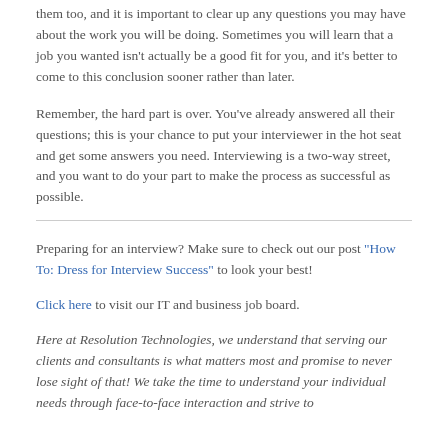them too, and it is important to clear up any questions you may have about the work you will be doing. Sometimes you will learn that a job you wanted isn't actually be a good fit for you, and it's better to come to this conclusion sooner rather than later.
Remember, the hard part is over. You've already answered all their questions; this is your chance to put your interviewer in the hot seat and get some answers you need. Interviewing is a two-way street, and you want to do your part to make the process as successful as possible.
Preparing for an interview? Make sure to check out our post "How To: Dress for Interview Success" to look your best!
Click here to visit our IT and business job board.
Here at Resolution Technologies, we understand that serving our clients and consultants is what matters most and promise to never lose sight of that! We take the time to understand your individual needs through face-to-face interaction and strive to